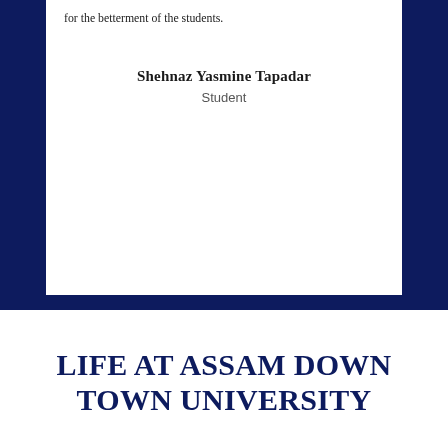for the betterment of the students.
Shehnaz Yasmine Tapadar
Student
LIFE AT ASSAM DOWN TOWN UNIVERSITY